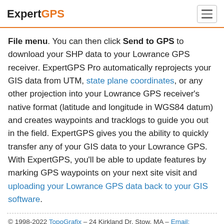ExpertGPS
File menu. You can then click Send to GPS to download your SHP data to your Lowrance GPS receiver. ExpertGPS Pro automatically reprojects your GIS data from UTM, state plane coordinates, or any other projection into your Lowrance GPS receiver's native format (latitude and longitude in WGS84 datum) and creates waypoints and tracklogs to guide you out in the field. ExpertGPS gives you the ability to quickly transfer any of your GIS data to your Lowrance GPS. With ExpertGPS, you'll be able to update features by marking GPS waypoints on your next site visit and uploading your Lowrance GPS data back to your GIS software.
© 1998-2022 TopoGrafix – 24 Kirkland Dr, Stow, MA – Email: support@expertgps.com